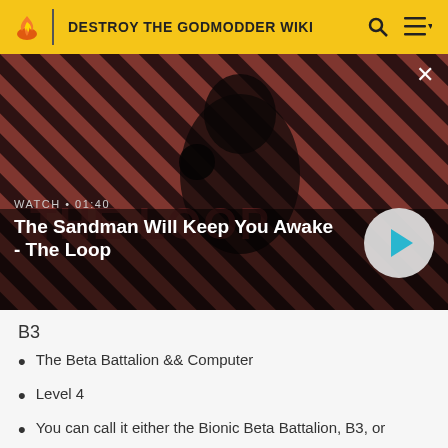DESTROY THE GODMODDER WIKI
[Figure (screenshot): Video thumbnail showing a man in dark clothing with a raven on his shoulder against a red diagonal striped background. Overlay shows WATCH • 01:40 and title 'The Sandman Will Keep You Awake - The Loop' with a play button.]
B3
The Beta Battalion && Computer
Level 4
You can call it either the Bionic Beta Battalion, B3, or